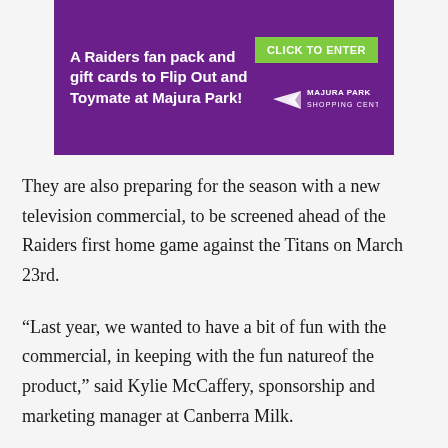[Figure (other): Purple advertisement banner for Majura Park Shopping Centre promoting a Raiders fan pack and gift cards to Flip Out and Toymate, with a green 'CLICK TO ENTER' button and Majura Park logo]
They are also preparing for the season with a new television commercial, to be screened ahead of the Raiders first home game against the Titans on March 23rd.
“Last year, we wanted to have a bit of fun with the commercial, in keeping with the fun natureof the product,” said Kylie McCaffery, sponsorship and marketing manager at Canberra Milk.